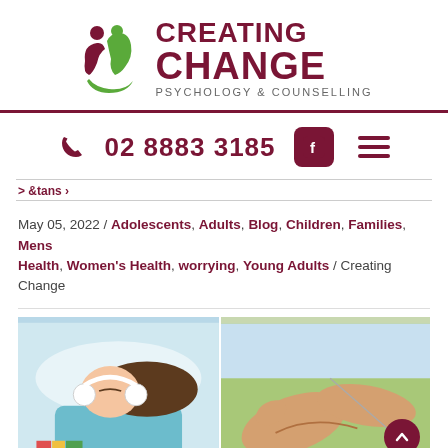[Figure (logo): Creating Change Psychology & Counselling logo with two figure icons in dark red and green]
02 8883 3185
May 05, 2022 / Adolescents, Adults, Blog, Children, Families, Mens Health, Women's Health, worrying, Young Adults / Creating Change
[Figure (photo): Left: woman lying down with headphones; Right: person touching another person's wrist outdoors]